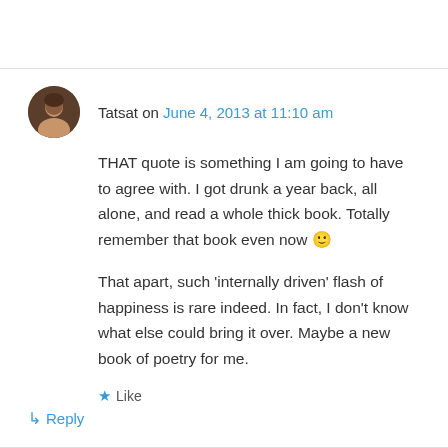Tatsat on June 4, 2013 at 11:10 am
THAT quote is something I am going to have to agree with. I got drunk a year back, all alone, and read a whole thick book. Totally remember that book even now 🙂
That apart, such ‘internally driven’ flash of happiness is rare indeed. In fact, I don’t know what else could bring it over. Maybe a new book of poetry for me.
★ Like
↳ Reply